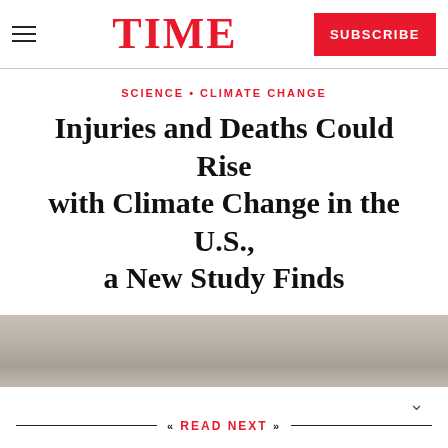TIME | SUBSCRIBE
SCIENCE • CLIMATE CHANGE
Injuries and Deaths Could Rise with Climate Change in the U.S., a New Study Finds
[Figure (photo): Gray hazy sky or landscape photo used as article hero image]
READ NEXT
[Figure (photo): Aerial photograph of a port city with ships and industrial infrastructure]
California City Votes to Shut Crucial Port to Coal Exports